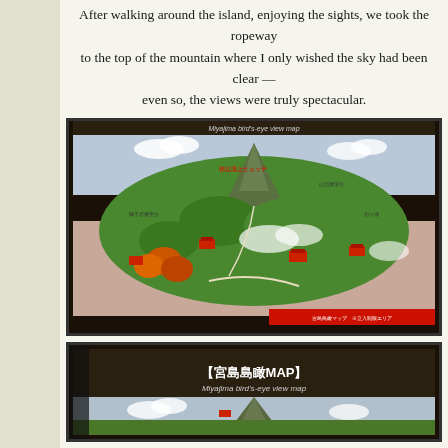After walking around the island, enjoying the sights, we took the ropeway to the top of the mountain where I only wished the sky had been clear — even so, the views were truly spectacular.
[Figure (photo): Photograph of a Miyajima bird's-eye view map display, showing an illustrated aerial map of Miyajima island with Japanese text labels, colored illustrations of mountains, temples, trees, and water. The map has a dark border/frame and a red banner at the bottom.]
[Figure (photo): Photograph of a second Miyajima bird's-eye view map display showing the title in Japanese kanji '宮島島瞰MAP' and subtitle 'Miyajima bird's-eye view map', with the top portion of the illustrated island map visible below.]